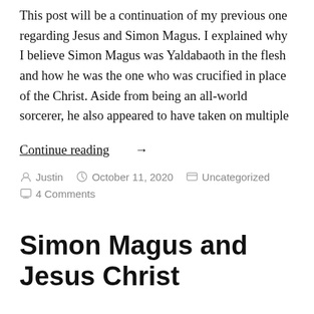This post will be a continuation of my previous one regarding Jesus and Simon Magus. I explained why I believe Simon Magus was Yaldabaoth in the flesh and how he was the one who was crucified in place of the Christ. Aside from being an all-world sorcerer, he also appeared to have taken on multiple
Continue reading →
By Justin   October 11, 2020   Uncategorized   4 Comments
Simon Magus and Jesus Christ